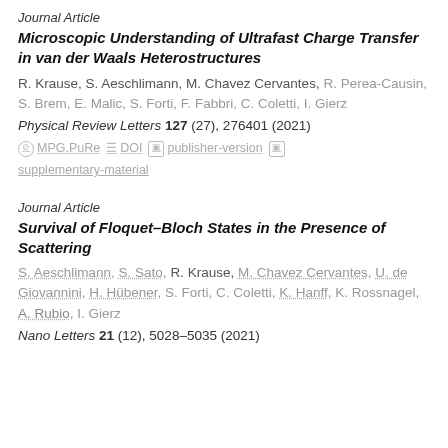Journal Article
Microscopic Understanding of Ultrafast Charge Transfer in van der Waals Heterostructures
R. Krause, S. Aeschlimann, M. Chavez Cervantes, R. Perea-Causin, S. Brem, E. Malic, S. Forti, F. Fabbri, C. Coletti, I. Gierz
Physical Review Letters 127 (27), 276401 (2021)
MPG.PuRe   DOI   publisher-version   supplementary-material
Journal Article
Survival of Floquet–Bloch States in the Presence of Scattering
S. Aeschlimann, S. Sato, R. Krause, M. Chavez Cervantes, U. de Giovannini, H. Hübener, S. Forti, C. Coletti, K. Hanff, K. Rossnagel, A. Rubio, I. Gierz
Nano Letters 21 (12), 5028–5035 (2021)